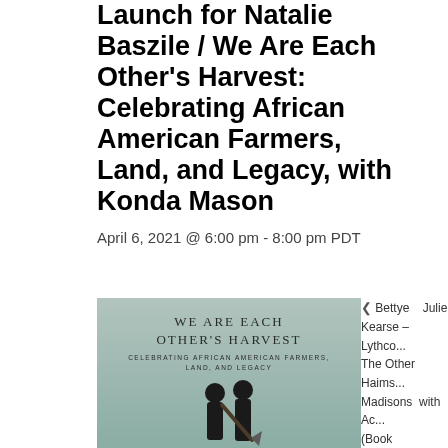Launch for Natalie Baszile / We Are Each Other's Harvest: Celebrating African American Farmers, Land, and Legacy, with Konda Mason
April 6, 2021 @ 6:00 pm - 8:00 pm PDT
[Figure (illustration): Book cover of 'We Are Each Other's Harvest: Celebrating African American Farmers, Land, and Legacy' showing two people with farming tools against a muted teal background]
< Bettye Kearse – The Other Madisons (Book   Julie Lythco... Haims with Ac... Smiley...